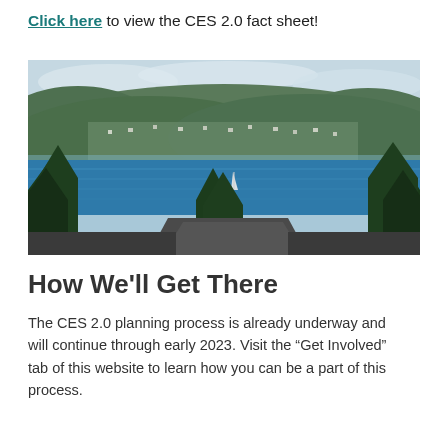Click here to view the CES 2.0 fact sheet!
[Figure (photo): Aerial/elevated photograph of a blue lake with a forested hillside and residential neighborhood in the background, with evergreen trees in the foreground and a sailboat visible on the water.]
How We'll Get There
The CES 2.0 planning process is already underway and will continue through early 2023. Visit the “Get Involved” tab of this website to learn how you can be a part of this process.